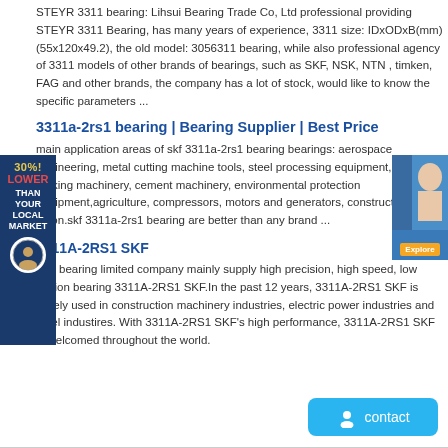STEYR 3311 bearing: Lihsui Bearing Trade Co, Ltd professional providing STEYR 3311 Bearing, has many years of experience, 3311 size: IDxODxB(mm) (55x120x49.2), the old model: 3056311 bearing, while also professional agency of 3311 models of other brands of bearings, such as SKF, NSK, NTN , timken, FAG and other brands, the company has a lot of stock, would like to know the specific parameters ...
3311a-2rs1 bearing | Bearing Supplier | Best Price
main application areas of skf 3311a-2rs1 bearing bearings: aerospace engineering, metal cutting machine tools, steel processing equipment,paper making machinery, cement machinery, environmental protection equipment,agriculture, compressors, motors and generators, construction and so on.skf 3311a-2rs1 bearing are better than any brand ...
3311A-2RS1 SKF
Eric bearing limited company mainly supply high precision, high speed, low friction bearing 3311A-2RS1 SKF.In the past 12 years, 3311A-2RS1 SKF is widely used in construction machinery industries, electric power industries and steel industires. With 3311A-2RS1 SKF's high performance, 3311A-2RS1 SKF is welcomed throughout the world.
[Figure (other): Blue contact button with chat icon at bottom right]
[Figure (other): Left advertisement banner: 30% LOWER THAN YOUR LOCAL MARKET with circular logo]
[Figure (other): Top right advertisement banner with person image and orange button]